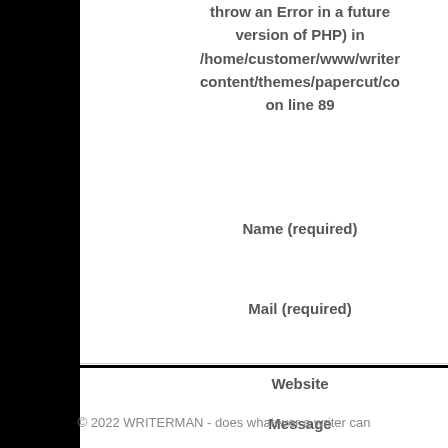throw an Error in a future version of PHP) in /home/customer/www/writer content/themes/papercut/co on line 89
Name (required)
Mail (required)
[Figure (screenshot): Warning tooltip showing '<br /><b>Warning</' text]
Website
Message
© 2022 WRITERMAN - does whatever a writer can